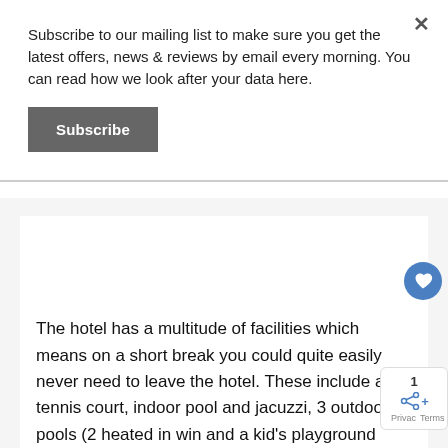Subscribe to our mailing list to make sure you get the latest offers, news & reviews by email every morning. You can read how we look after your data here.
Subscribe
The hotel has a multitude of facilities which means on a short break you could quite easily never need to leave the hotel. These include a tennis court, indoor pool and jacuzzi, 3 outdoor pools (2 heated in win and a kid's playground